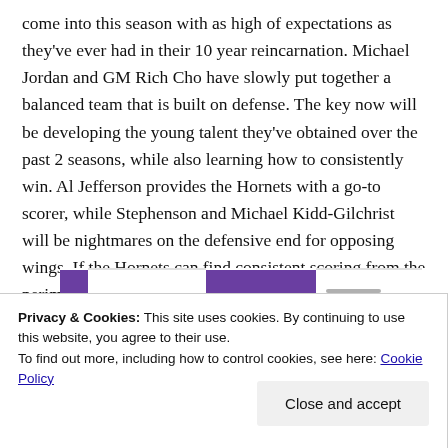come into this season with as high of expectations as they've ever had in their 10 year reincarnation. Michael Jordan and GM Rich Cho have slowly put together a balanced team that is built on defense. The key now will be developing the young talent they've obtained over the past 2 seasons, while also learning how to consistently win. Al Jefferson provides the Hornets with a go-to scorer, while Stephenson and Michael Kidd-Gilchrist will be nightmares on the defensive end for opposing wings. If the Hornets can find consistent scoring from the perimeter, they may be a surprise team in the East.
[Figure (screenshot): Advertisement banner showing 'Start a new store' with purple blocks and UI elements]
Privacy & Cookies: This site uses cookies. By continuing to use this website, you agree to their use. To find out more, including how to control cookies, see here: Cookie Policy
Close and accept